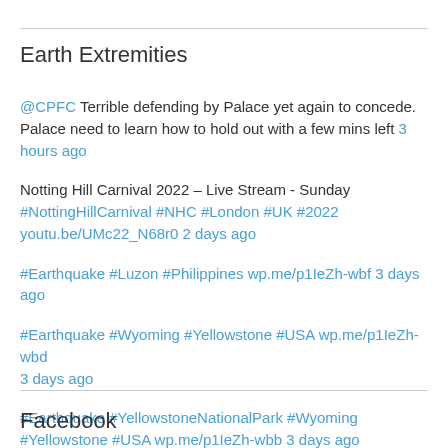Earth Extremities
@CPFC Terrible defending by Palace yet again to concede. Palace need to learn how to hold out with a few mins left 3 hours ago
Notting Hill Carnival 2022 – Live Stream - Sunday #NottingHillCarnival #NHC #London #UK #2022 youtu.be/UMc22_N68r0 2 days ago
#Earthquake #Luzon #Philippines wp.me/p1IeZh-wbf 3 days ago
#Earthquake #Wyoming #Yellowstone #USA wp.me/p1IeZh-wbd 3 days ago
#Earthquake #YellowstoneNationalPark #Wyoming #Yellowstone #USA wp.me/p1IeZh-wbb 3 days ago
Follow @Earth_Extreme
Facebook